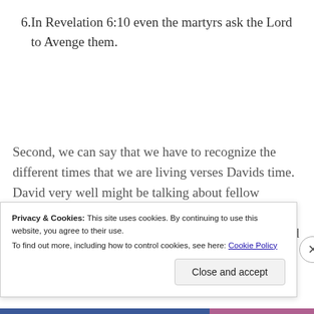6. In Revelation 6:10 even the martyrs ask the Lord to Avenge them.
Second, we can say that we have to recognize the different times that we are living verses Davids time. David very well might be talking about fellow Israelites who have taken an oath to follow the covenant law as did he. They are not following it, and consequently
Privacy & Cookies: This site uses cookies. By continuing to use this website, you agree to their use.
To find out more, including how to control cookies, see here: Cookie Policy